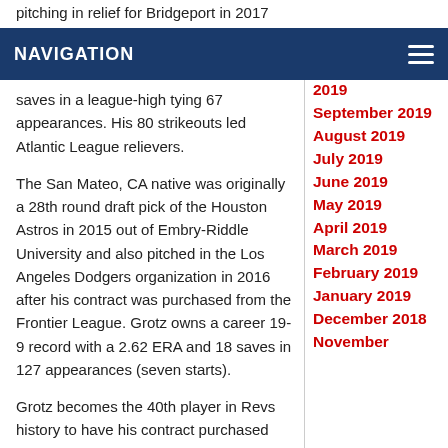NAVIGATION
saves in a league-high tying 67 appearances. His 80 strikeouts led Atlantic League relievers.
The San Mateo, CA native was originally a 28th round draft pick of the Houston Astros in 2015 out of Embry-Riddle University and also pitched in the Los Angeles Dodgers organization in 2016 after his contract was purchased from the Frontier League. Grotz owns a career 19-9 record with a 2.62 ERA and 18 saves in 127 appearances (seven starts).
Grotz becomes the 40th player in Revs history to have his contract purchased
2019
September 2019
August 2019
July 2019
June 2019
May 2019
April 2019
March 2019
February 2019
January 2019
December 2018
November